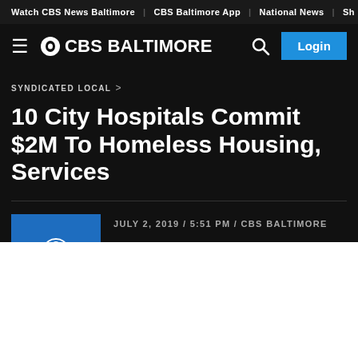Watch CBS News Baltimore | CBS Baltimore App | National News | Sh
[Figure (logo): CBS Baltimore logo with hamburger menu, CBS eye icon, and Login button]
SYNDICATED LOCAL ›
10 City Hospitals Commit $2M To Homeless Housing, Services
JULY 2, 2019 / 5:51 PM / CBS BALTIMORE
[Figure (logo): CBS News Baltimore blue square logo]